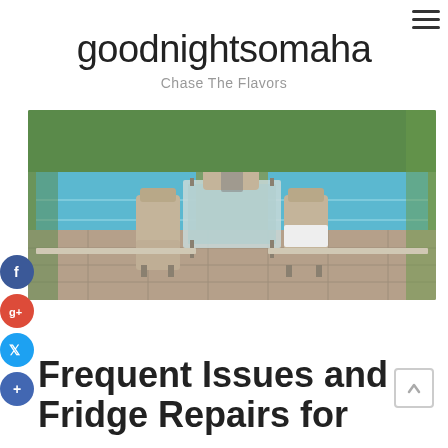goodnightsomaha — Chase The Flavors
goodnightsomaha
Chase The Flavors
[Figure (photo): Outdoor patio dining set with wicker chairs around a glass table next to a swimming pool, surrounded by greenery.]
Frequent Issues and Fridge Repairs for